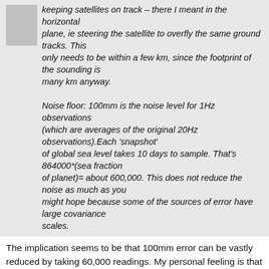keeping satellites on track – there I meant in the horizontal plane, ie steering the satellite to overfly the same ground tracks. This only needs to be within a few km, since the footprint of the sounding is many km anyway.

Noise floor: 100mm is the noise level for 1Hz observations (which are averages of the original 20Hz observations).Each 'snapshot' of global sea level takes 10 days to sample. That's 864000*(sea fraction of planet)= about 600,000. This does not reduce the noise as much as you might hope because some of the sources of error have large covariance scales.
The implication seems to be that 100mm error can be vastly reduced by taking 60,000 readings. My personal feeling is that if the 100mm is all a bias in accuracy, no number of readings will correct for it. So do we quote change of 3mm a year globally for a device accurate to 100 mm? Try building a home with a ruler graduated only in half yards, or as some of us express in a more enlightened decimal way, about 50 cm.
73.    Kenneth Fritsch on Dec 18, 2007 at 10:09 AM